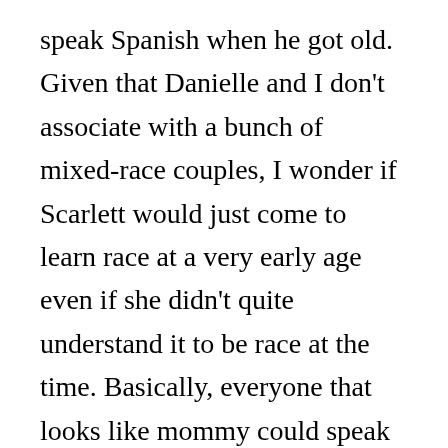speak Spanish when he got old. Given that Danielle and I don't associate with a bunch of mixed-race couples, I wonder if Scarlett would just come to learn race at a very early age even if she didn't quite understand it to be race at the time. Basically, everyone that looks like mommy could speak both languages, but everyone that looks like daddy can't. It's also interesting that Dina is also dating a white guy so Scarlett might come up with some convoluted hypothesis about people who marry into mommy's family. I'll